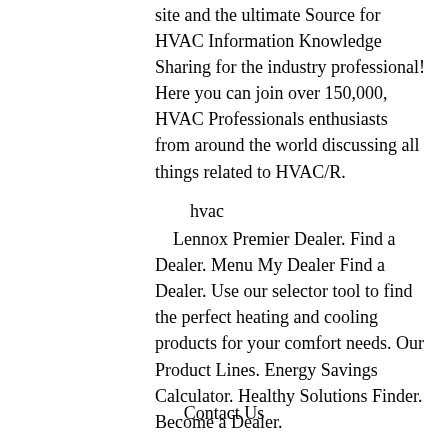site and the ultimate Source for HVAC Information Knowledge Sharing for the industry professional! Here you can join over 150,000, HVAC Professionals enthusiasts from around the world discussing all things related to HVAC/R.
hvac
Lennox Premier Dealer. Find a Dealer. Menu My Dealer Find a Dealer. Use our selector tool to find the perfect heating and cooling products for your comfort needs. Our Product Lines. Energy Savings Calculator. Healthy Solutions Finder. Become a Dealer.
Contact Us